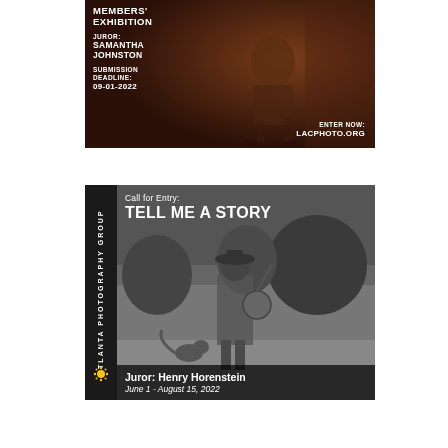[Figure (photo): Photography exhibition advertisement with dark brown/red background showing a woman sitting in a chair. Text reads: MEMBERS' EXHIBITION, JUROR: SAMANTHA JOHNSTON, SUBMISSION DEADLINE: 09-01-2022, ENTER NOW: LACPHOTO.ORG]
[Figure (photo): Atlanta Photography Group call for entry advertisement with black and white photo of a man in a cowboy hat playing banjo with a cat running nearby. Text reads: Call for Entry: TELL ME A STORY, Juror: Henry Horenstein, June 1 - August 15, 2022]